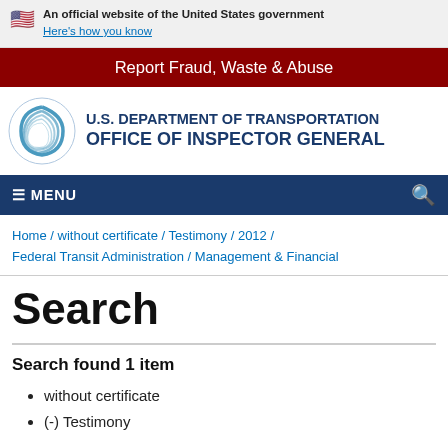An official website of the United States government Here's how you know
Report Fraud, Waste & Abuse
[Figure (logo): U.S. Department of Transportation Office of Inspector General logo with circular swirl emblem]
Home / without certificate / Testimony / 2012 / Federal Transit Administration / Management & Financial
Search
Search found 1 item
without certificate
(-) Testimony